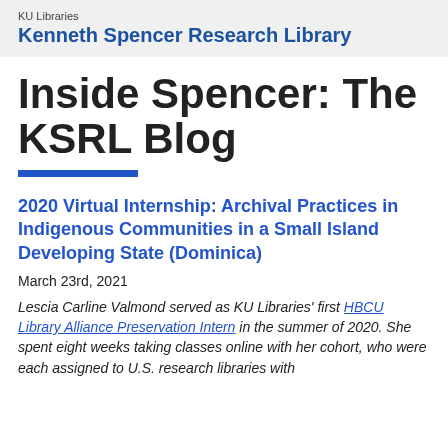KU Libraries
Kenneth Spencer Research Library
Inside Spencer: The KSRL Blog
2020 Virtual Internship: Archival Practices in Indigenous Communities in a Small Island Developing State (Dominica)
March 23rd, 2021
Lescia Carline Valmond served as KU Libraries' first HBCU Library Alliance Preservation Intern in the summer of 2020. She spent eight weeks taking classes online with her cohort, who were each assigned to U.S. research libraries with